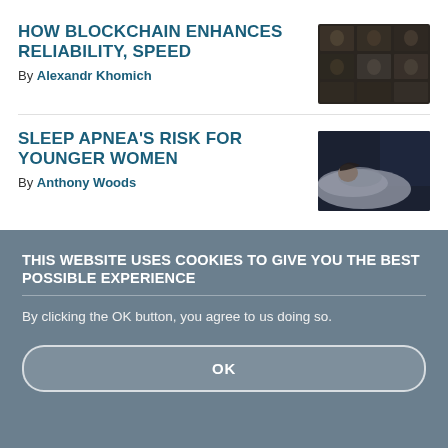HOW BLOCKCHAIN ENHANCES RELIABILITY, SPEED
By Alexandr Khomich
[Figure (photo): Dark grid of portraits/images related to blockchain]
SLEEP APNEA'S RISK FOR YOUNGER WOMEN
By Anthony Woods
[Figure (photo): Woman sleeping in bed, dark moody lighting]
THIS WEBSITE USES COOKIES TO GIVE YOU THE BEST POSSIBLE EXPERIENCE
By clicking the OK button, you agree to us doing so.
OK